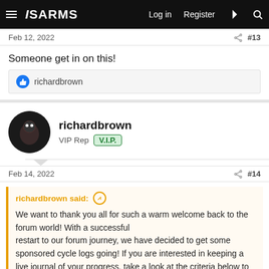ISARMS — Log in  Register
Feb 12, 2022  #13
Someone get in on this!
richardbrown
richardbrown  VIP Rep  V.I.P.
Feb 14, 2022  #14
richardbrown said: ↑ We want to thank you all for such a warm welcome back to the forum world! With a successful restart to our forum journey, we have decided to get some sponsored cycle logs going! If you are interested in keeping a live journal of your progress, take a look at the criteria below to see if you are eligible. Exception: Interested forum/AAS vets can contact us via PM. Available Log Plans: